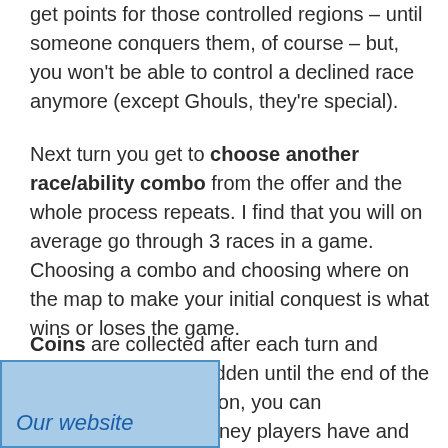get points for those controlled regions – until someone conquers them, of course – but, you won't be able to control a declined race anymore (except Ghouls, they're special).
Next turn you get to choose another race/ability combo from the offer and the whole process repeats. I find that you will on average go through 3 races in a game. Choosing a combo and choosing where on the map to make your initial conquest is what wins or loses the game.
Coins are collected after each turn and players keep them hidden until the end of the game. With observation, you can [money players have and] [tegy accordingly (i.e.]